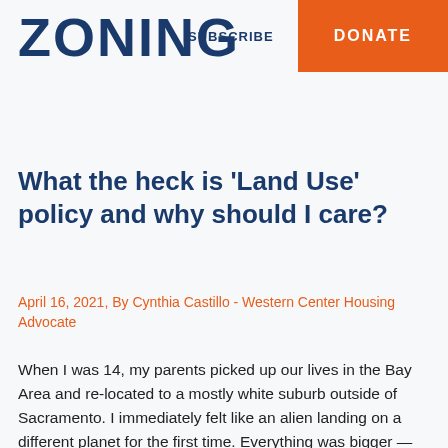SUBSCRIBE  DONATE
ZONING
What the heck is ‘Land Use’ policy and why should I care?
April 16, 2021, By Cynthia Castillo - Western Center Housing Advocate
When I was 14, my parents picked up our lives in the Bay Area and re-located to a mostly white suburb outside of Sacramento. I immediately felt like an alien landing on a different planet for the first time. Everything was bigger — the roads, the cars, the homes, the parking lots. The houses had manicured lawns and